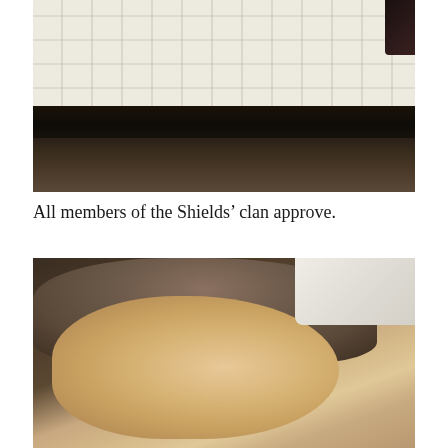[Figure (photo): Photo of a mattress on a bed frame, viewed from the side. The white quilted mattress top is visible, with a dark metal bed frame/rail beneath it and a dark wooden floor visible underneath. Someone in dark clothing is partially visible in the top-right corner.]
All members of the Shields’ clan approve.
[Figure (photo): Close-up photo of a young child's face resting on a white mattress, eyes closed, appearing to be sleeping or lying down. The child has light brown hair. The background is dark brown.]